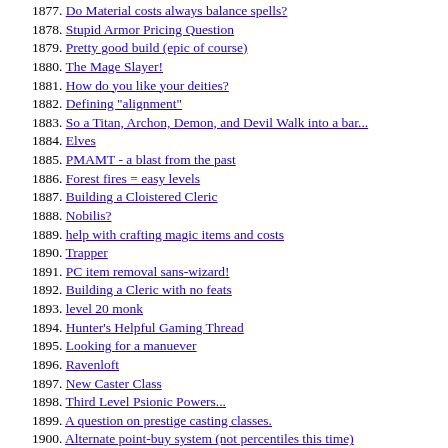1877. Do Material costs always balance spells?
1878. Stupid Armor Pricing Question
1879. Pretty good build (epic of course)
1880. The Mage Slayer!
1881. How do you like your deities?
1882. Defining "alignment"
1883. So a Titan, Archon, Demon, and Devil Walk into a bar...
1884. Elves
1885. PMAMT - a blast from the past
1886. Forest fires = easy levels
1887. Building a Cloistered Cleric
1888. Nobilis?
1889. help with crafting magic items and costs
1890. Trapper
1891. PC item removal sans-wizard!
1892. Building a Cleric with no feats
1893. level 20 monk
1894. Hunter's Helpful Gaming Thread
1895. Looking for a manuever
1896. Ravenloft
1897. New Caster Class
1898. Third Level Psionic Powers...
1899. A question on prestige casting classes.
1900. Alternate point-buy system (not percentiles this time)
1901. Common: The Language
1902. Have you met the 3 Xykons?
1903. no con and wis boosting items?
1904. What to wish for
1905. Binder Building
1906. Move along, move along (mispost)